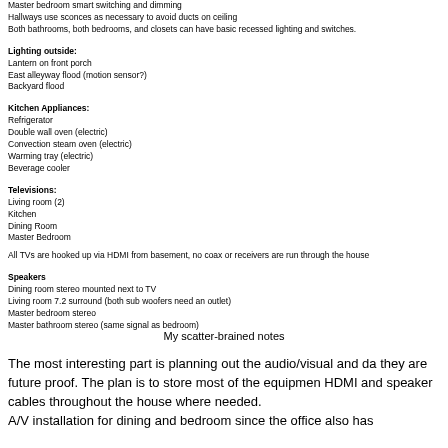Master bedroom smart switching and dimming
Hallways use sconces as necessary to avoid ducts on ceiling
Both bathrooms, both bedrooms, and closets can have basic recessed lighting and switches.
Lighting outside:
Lantern on front porch
East alleyway flood (motion sensor?)
Backyard flood
Kitchen Appliances:
Refrigerator
Double wall oven (electric)
Convection steam oven (electric)
Warming tray (electric)
Beverage cooler
Televisions:
Living room (2)
Kitchen
Dining Room
Master Bedroom
All TVs are hooked up via HDMI from basement, no coax or receivers are run through the house
Speakers
Dining room stereo mounted next to TV
Living room 7.2 surround (both sub woofers need an outlet)
Master bedroom stereo
Master bathroom stereo (same signal as bedroom)
My scatter-brained notes
The most interesting part is planning out the audio/visual and da they are future proof. The plan is to store most of the equipmen HDMI and speaker cables throughout the house where needed. A/V installation for dining and bedroom since the office also has